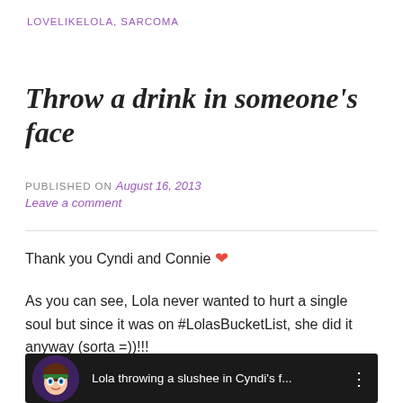LOVELIKELOLA, SARCOMA
Throw a drink in someone's face
PUBLISHED ON August 16, 2013
Leave a comment
Thank you Cyndi and Connie ❤
As you can see, Lola never wanted to hurt a single soul but since it was on #LolasBucketList, she did it anyway (sorta =))!!!
[Figure (screenshot): YouTube video thumbnail showing 'Lola throwing a slushee in Cyndi's f...' with a cartoon avatar on dark background]